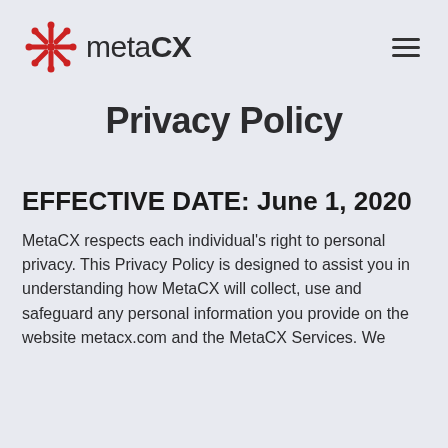metaCX
Privacy Policy
EFFECTIVE DATE: June 1, 2020
MetaCX respects each individual's right to personal privacy. This Privacy Policy is designed to assist you in understanding how MetaCX will collect, use and safeguard any personal information you provide on the website metacx.com and the MetaCX Services. We